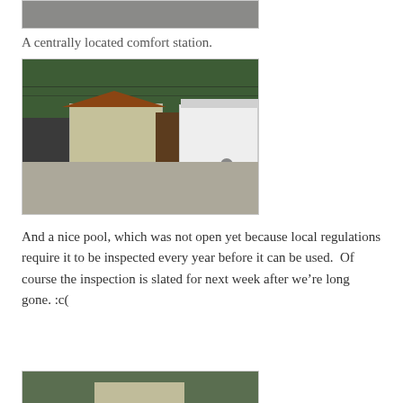[Figure (photo): Top of a photo showing a gray/gravel surface, partially cropped at top of page]
A centrally located comfort station.
[Figure (photo): A building with a brown roof and tan walls, a brown door, a white RV trailer parked to the right, and a gravel parking area in front. Trees visible in the background.]
And a nice pool, which was not open yet because local regulations require it to be inspected every year before it can be used.  Of course the inspection is slated for next week after we’re long gone. :c(
[Figure (photo): Bottom portion of page showing trees and a building, partially cropped]